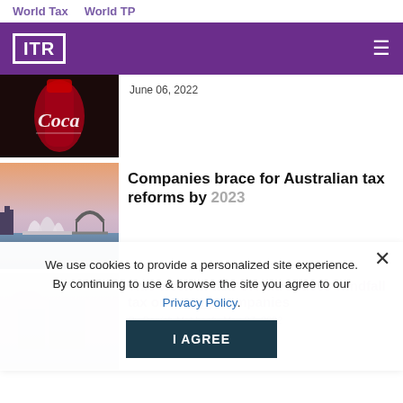World Tax   World TP
[Figure (logo): ITR (International Tax Review) logo in white on purple background with hamburger menu]
[Figure (photo): Coca-Cola bottle close-up, dark background]
June 06, 2022
[Figure (photo): Sydney Opera House and harbour at dusk/sunset]
Companies brace for Australian tax reforms by 2023
[Figure (photo): Faded landscape photo, partially obscured by cookie banner]
This week in tax: UK introduces windfall tax on energy companies
By Danish Mehboob, May 27, 2022
We use cookies to provide a personalized site experience. By continuing to use & browse the site you agree to our Privacy Policy.